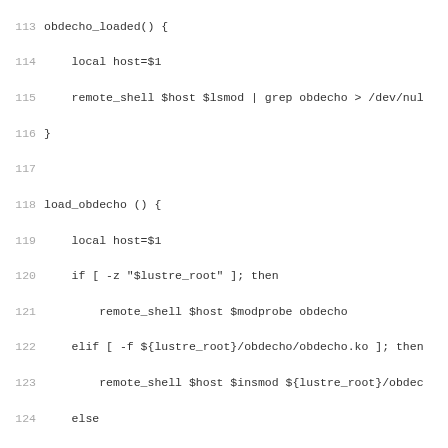[Figure (screenshot): Shell script source code showing bash functions: obdecho_loaded, load_obdecho, unload_obdecho, get_devno, and get_ec_devno with line numbers 113-145]